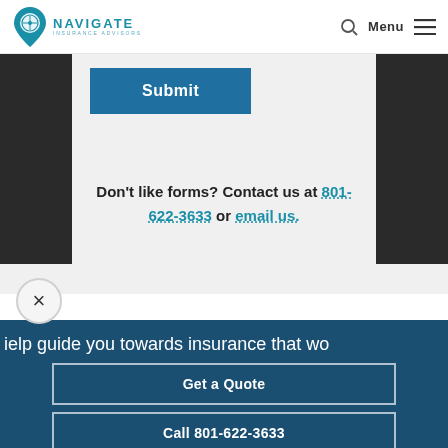[Figure (logo): Navigate Insurance Advisors logo with compass icon]
Submit
Don't like forms? Contact us at 801-622-3633 or email us.
help guide you towards insurance that wo
Get a Quote
Call 801-622-3633